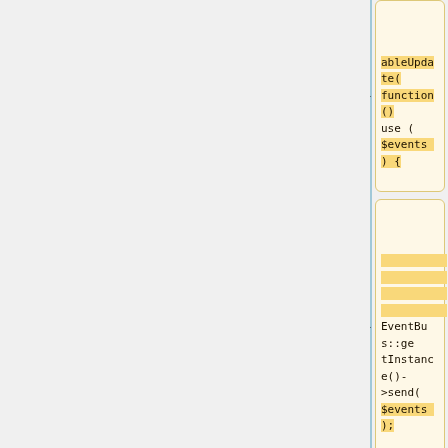[Figure (screenshot): Code diff view showing PHP code blocks with yellow/highlighted lines. Code includes: ableUpdate(function() use ( $events ) {, EventBus::getInstance()->send( $events );, } );, }, and </syntaxhighlight>Push this change for review]
ableUpdate(function() use ( $events ) {
EventBus::getInstance()->send( $events );
} );
}
</syntaxhighlight>Push this change for review